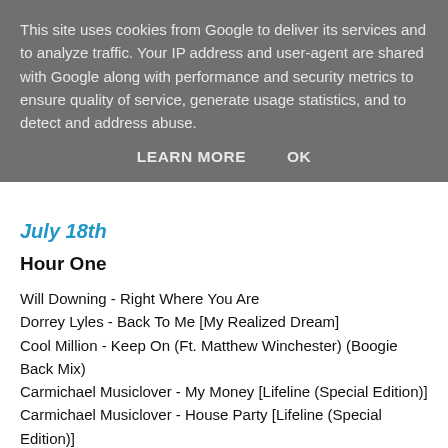This site uses cookies from Google to deliver its services and to analyze traffic. Your IP address and user-agent are shared with Google along with performance and security metrics to ensure quality of service, generate usage statistics, and to detect and address abuse.
LEARN MORE   OK
July 18th
Hour One
Will Downing - Right Where You Are
Dorrey Lyles - Back To Me [My Realized Dream]
Cool Million - Keep On (Ft. Matthew Winchester) (Boogie Back Mix)
Carmichael Musiclover - My Money [Lifeline (Special Edition)]
Carmichael Musiclover - House Party [Lifeline (Special Edition)]
John Legend - I Do [Bigger Love]
Sam Wills - Undercover